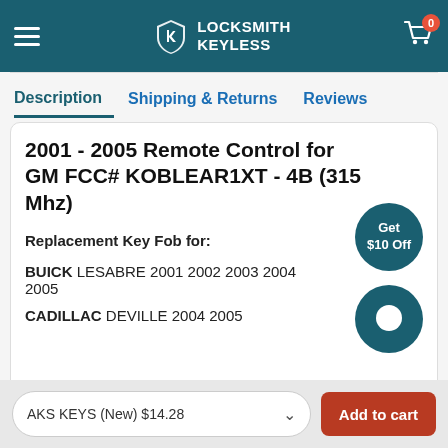Locksmith Keyless
Description | Shipping & Returns | Reviews
2001 - 2005 Remote Control for GM FCC# KOBLEAR1XT - 4B (315 Mhz)
Replacement Key Fob for:
BUICK LESABRE 2001 2002 2003 2004 2005
CADILLAC DEVILLE 2004 2005
AKS KEYS (New) $14.28  Add to cart